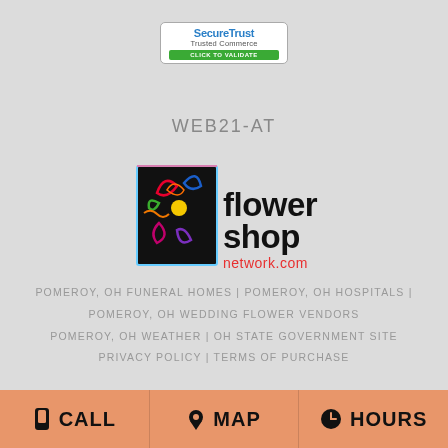[Figure (logo): SecureTrust Trusted Commerce badge - click to validate]
WEB21-AT
[Figure (logo): Flower Shop Network .com logo with colorful abstract flower graphic]
POMEROY, OH FUNERAL HOMES | POMEROY, OH HOSPITALS |
POMEROY, OH WEDDING FLOWER VENDORS
POMEROY, OH WEATHER | OH STATE GOVERNMENT SITE
PRIVACY POLICY | TERMS OF PURCHASE
CALL   MAP   HOURS